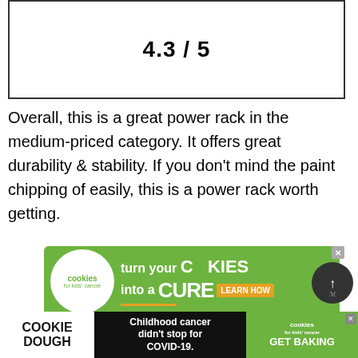[Figure (other): A bordered box containing a score rating of 4.3 / 5]
Overall, this is a great power rack in the medium-priced category. It offers great durability & stability. If you don't mind the paint chipping of easily, this is a power rack worth getting.
[Figure (other): Green advertisement banner for 'cookies for kids cancer' — turn your COOKIES into a CURE LEARN HOW]
[Figure (other): Bottom black banner ad: COOKIE DOUGH — Childhood cancer didn't stop for COVID-19. — cookies for kids cancer GET BAKING]